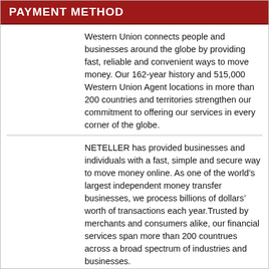PAYMENT METHOD
Western Union connects people and businesses around the globe by providing fast, reliable and convenient ways to move money. Our 162-year history and 515,000 Western Union Agent locations in more than 200 countries and territories strengthen our commitment to offering our services in every corner of the globe.
NETELLER has provided businesses and individuals with a fast, simple and secure way to move money online. As one of the world’s largest independent money transfer businesses, we process billions of dollars’ worth of transactions each year.Trusted by merchants and consumers alike, our financial services span more than 200 countrues across a broad spectrum of industries and businesses.
Skrill Holdings, is a leading online payments and Digital Wallet service with over 15 million account holders. Skrill worldwide payment network offers businesses to directly proccess over 100 payment options in over 200 countries and